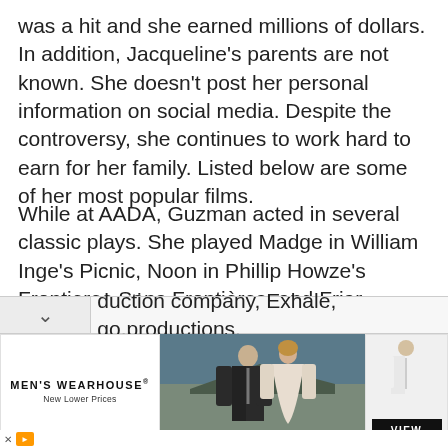was a hit and she earned millions of dollars. In addition, Jacqueline’s parents are not known. She doesn’t post her personal information on social media. Despite the controversy, she continues to work hard to earn for her family. Listed below are some of her most popular films.
While at AADA, Guzman acted in several classic plays. She played Madge in William Inge’s Picnic, Noon in Phillip Howze’s Frontieres Sans Frontières, and Friar Laurence in William Shakespeare’s Romeo and Juliet. Afterwards, she grew up in Miami and founded her own production company, Exhale, go.productions.
[Figure (photo): Advertisement banner for Men's Wearhouse showing a couple in formal wear (man in dark suit with tie, woman in light dress) and a man in a white suit on the right side, with a VIEW button]